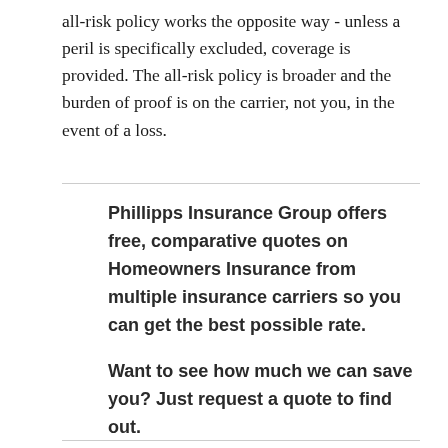all-risk policy works the opposite way - unless a peril is specifically excluded, coverage is provided. The all-risk policy is broader and the burden of proof is on the carrier, not you, in the event of a loss.
Phillipps Insurance Group offers free, comparative quotes on Homeowners Insurance from multiple insurance carriers so you can get the best possible rate.
Want to see how much we can save you? Just request a quote to find out.